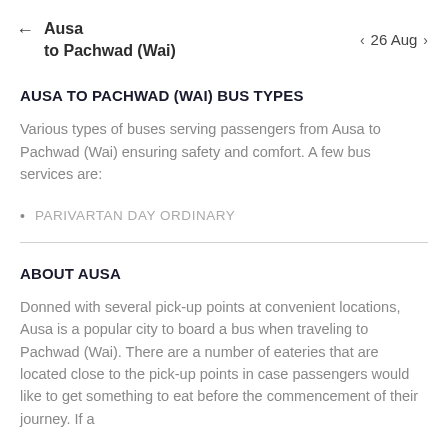← Ausa to Pachwad (Wai)   ‹ 26 Aug ›
AUSA TO PACHWAD (WAI) BUS TYPES
Various types of buses serving passengers from Ausa to Pachwad (Wai) ensuring safety and comfort. A few bus services are:
PARIVARTAN DAY ORDINARY
ABOUT AUSA
Donned with several pick-up points at convenient locations, Ausa is a popular city to board a bus when traveling to Pachwad (Wai). There are a number of eateries that are located close to the pick-up points in case passengers would like to get something to eat before the commencement of their journey. If a